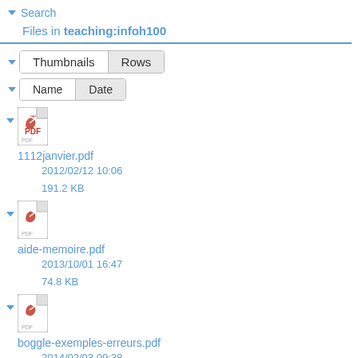Search
Files in teaching:infoh100
Thumbnails | Rows
Name | Date
[Figure (other): PDF file icon]
1112janvier.pdf
2012/02/12 10:06
191.2 KB
[Figure (other): PDF file icon]
aide-memoire.pdf
2013/10/01 16:47
74.8 KB
[Figure (other): PDF file icon]
boggle-exemples-erreurs.pdf
2014/02/03 09:38
102.6 KB